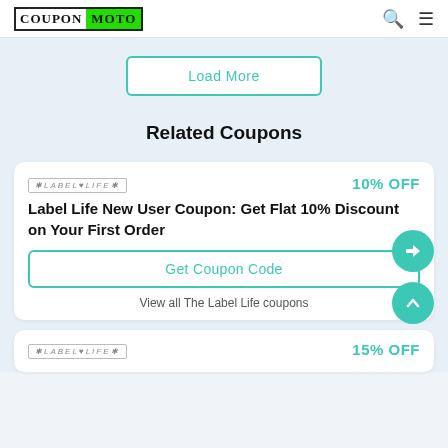CouponMoto
Load More
Related Coupons
[Figure (logo): Label Life brand logo text]
10% OFF
Label Life New User Coupon: Get Flat 10% Discount on Your First Order
Get Coupon Code
View all The Label Life coupons
[Figure (logo): Label Life brand logo text (second card)]
15% OFF